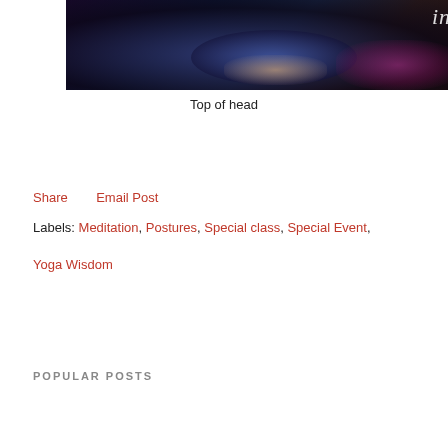[Figure (photo): Person sitting in meditation pose outdoors, wearing dark blue clothing with floral accent, text 'ing' visible top right corner in white italic]
Top of head
Share    Email Post
Labels: Meditation, Postures, Special class, Special Event, Yoga Wisdom
POPULAR POSTS
[Figure (photo): Light blue background image with white italic script text reading "New Year's Day Flow" and the word "Your" in grey at bottom right]